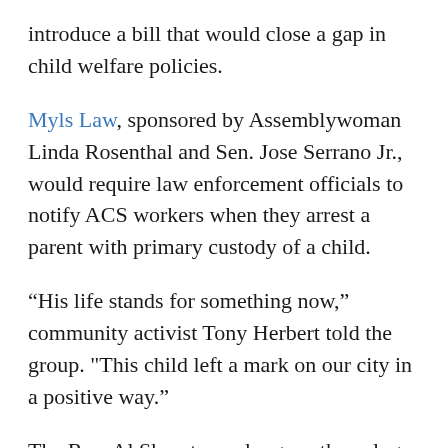introduce a bill that would close a gap in child welfare policies.
Myls Law, sponsored by Assemblywoman Linda Rosenthal and Sen. Jose Serrano Jr., would require law enforcement officials to notify ACS workers when they arrest a parent with primary custody of a child.
“His life stands for something now,” community activist Tony Herbert told the group. "This child left a mark on our city in a positive way.”
The Rev. Al Sharpton, who gave the eulogy, blamed the city's child welfare agency for the boy's death.
"Somebody in ACS needs to be held accountable for this," he said as the crowd stood and cheered.